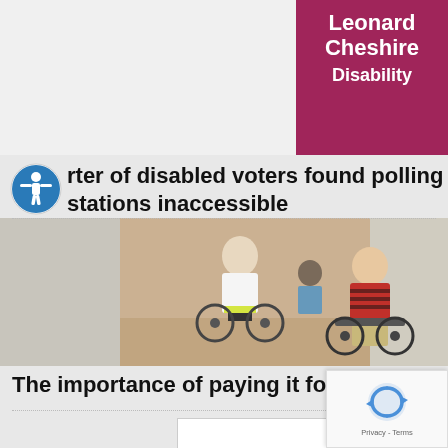[Figure (logo): Leonard Cheshire Disability logo — white bold text on magenta/pink background]
[Figure (illustration): Accessibility icon: circular blue/grey icon with white person figure with arms outstretched]
Quarter of disabled voters found polling stations inaccessible
[Figure (photo): Photo of wheelchair users in an indoor setting; two people in wheelchairs visible from behind/side]
The importance of paying it forward
[Figure (other): reCAPTCHA widget with recycle-arrow icon and Privacy/Terms text]